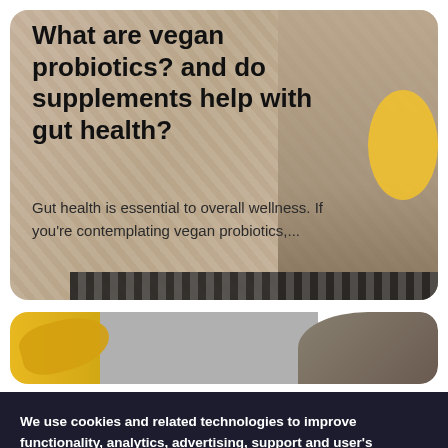[Figure (photo): A card with a beige/tan background featuring a blurred person in a striped top and a yellow lemon or fruit on the right side.]
What are vegan probiotics? and do supplements help with gut health?
Gut health is essential to overall wellness. If you're contemplating vegan probiotics,...
[Figure (photo): A card showing yellow bananas on the left and a blurred hand holding something on the right, with a grey background.]
We use cookies and related technologies to improve functionality, analytics, advertising, support and user's experience in this website. You can set your preferences under Cookies Settings or accept the use of our website according to our Cookies Policy.